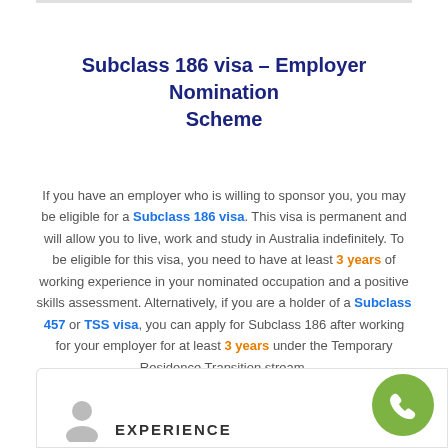Subclass 186 visa – Employer Nomination Scheme
If you have an employer who is willing to sponsor you, you may be eligible for a Subclass 186 visa. This visa is permanent and will allow you to live, work and study in Australia indefinitely. To be eligible for this visa, you need to have at least 3 years of working experience in your nominated occupation and a positive skills assessment. Alternatively, if you are a holder of a Subclass 457 or TSS visa, you can apply for Subclass 186 after working for your employer for at least 3 years under the Temporary Residence Transition stream.
EXPERIENCE